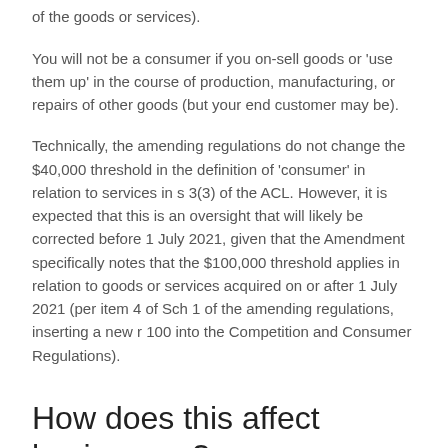of the goods or services).
You will not be a consumer if you on-sell goods or 'use them up' in the course of production, manufacturing, or repairs of other goods (but your end customer may be).
Technically, the amending regulations do not change the $40,000 threshold in the definition of 'consumer' in relation to services in s 3(3) of the ACL. However, it is expected that this is an oversight that will likely be corrected before 1 July 2021, given that the Amendment specifically notes that the $100,000 threshold applies in relation to goods or services acquired on or after 1 July 2021 (per item 4 of Sch 1 of the amending regulations, inserting a new r 100 into the Competition and Consumer Regulations).
How does this affect businesses?